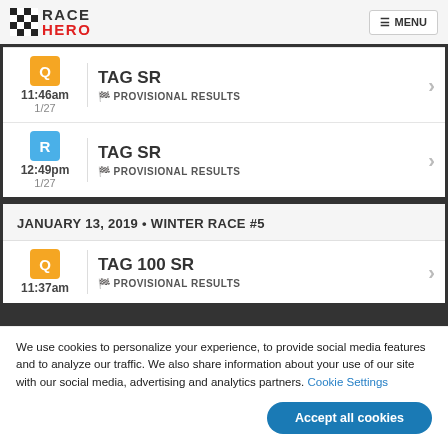RACE HERO — MENU
Q 11:46am 1/27 — TAG SR — PROVISIONAL RESULTS
R 12:49pm 1/27 — TAG SR — PROVISIONAL RESULTS
JANUARY 13, 2019 • WINTER RACE #5
Q 11:37am — TAG 100 SR — PROVISIONAL RESULTS
We use cookies to personalize your experience, to provide social media features and to analyze our traffic. We also share information about your use of our site with our social media, advertising and analytics partners. Cookie Settings
Accept all cookies